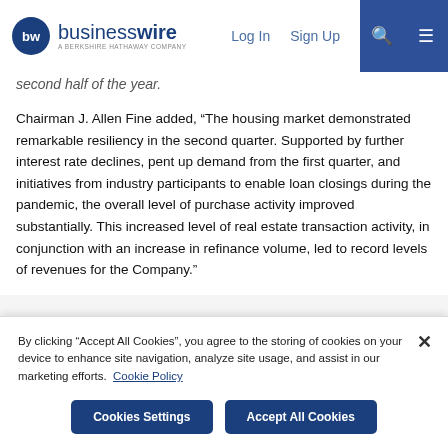businesswire — A BERKSHIRE HATHAWAY COMPANY | Log In | Sign Up
second half of the year.
Chairman J. Allen Fine added, “The housing market demonstrated remarkable resiliency in the second quarter. Supported by further interest rate declines, pent up demand from the first quarter, and initiatives from industry participants to enable loan closings during the pandemic, the overall level of purchase activity improved substantially. This increased level of real estate transaction activity, in conjunction with an increase in refinance volume, led to record levels of revenues for the Company.”
By clicking “Accept All Cookies”, you agree to the storing of cookies on your device to enhance site navigation, analyze site usage, and assist in our marketing efforts. Cookie Policy
Cookies Settings
Accept All Cookies